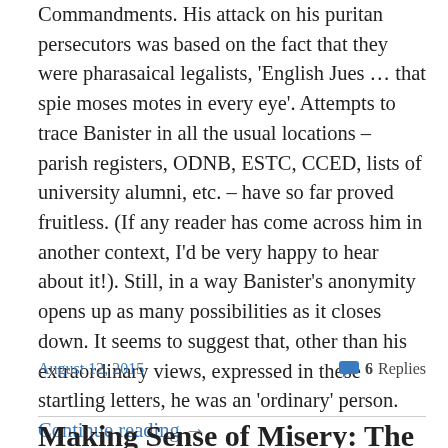Commandments. His attack on his puritan persecutors was based on the fact that they were pharasaical legalists, 'English Jues … that spie moses motes in every eye'. Attempts to trace Banister in all the usual locations – parish registers, ODNB, ESTC, CCED, lists of university alumni, etc. – have so far proved fruitless. (If any reader has come across him in another context, I'd be very happy to hear about it!). Still, in a way Banister's anonymity opens up as many possibilities as it closes down. It seems to suggest that, other than his extraordinary views, expressed in these startling letters, he was an 'ordinary' person. Continue reading →
August 12, 2015
6 Replies
Making Sense of Misery: The